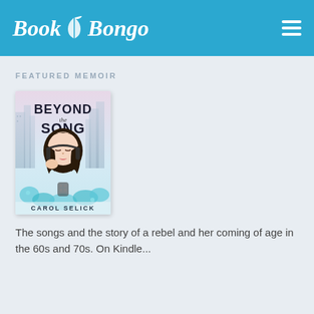Book Bongo
FEATURED MEMOIR
[Figure (illustration): Book cover of 'Beyond the Song' by Carol Selick. Shows a stylized illustration of a young woman with dark hair wearing headphones, against a cityscape background with colorful floral elements. Text reads 'BEYOND the SONG' and 'CAROL SELICK' at the bottom.]
The songs and the story of a rebel and her coming of age in the 60s and 70s. On Kindle...